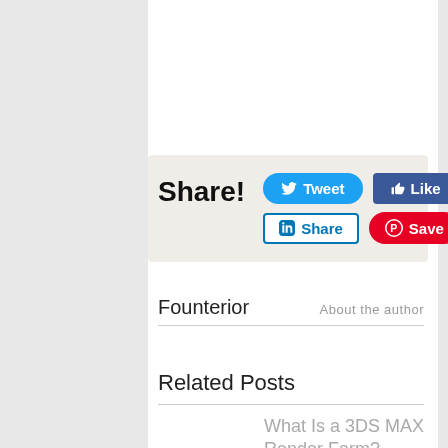[Figure (screenshot): Social share buttons area with Tweet, Like 0, LinkedIn Share, and Pinterest Save 125 buttons on a beige background, with 'Share!' label on the left]
Founterior
About the author
Related Posts
What Is a 3DS MAX Render Farm?
3DS MAX by Autodesk is